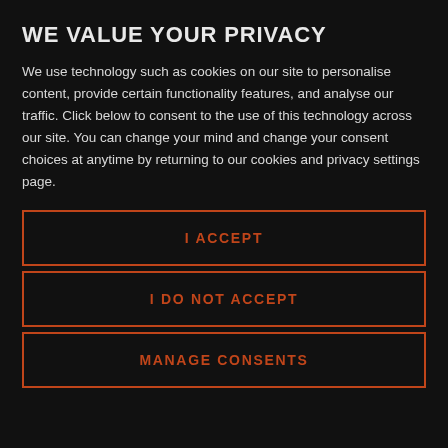WE VALUE YOUR PRIVACY
We use technology such as cookies on our site to personalise content, provide certain functionality features, and analyse our traffic. Click below to consent to the use of this technology across our site. You can change your mind and change your consent choices at anytime by returning to our cookies and privacy settings page.
I ACCEPT
I DO NOT ACCEPT
MANAGE CONSENTS